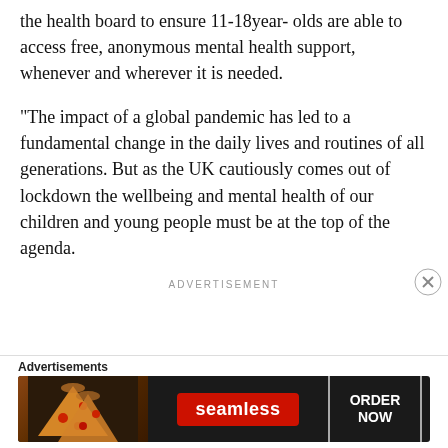the health board to ensure 11-18year- olds are able to access free, anonymous mental health support, whenever and wherever it is needed.
“The impact of a global pandemic has led to a fundamental change in the daily lives and routines of all generations. But as the UK cautiously comes out of lockdown the wellbeing and mental health of our children and young people must be at the top of the agenda.
ADVERTISEMENT
[Figure (other): Seamless food delivery advertisement banner showing pizza slices on the left, Seamless logo in the center, and ORDER NOW button on the right]